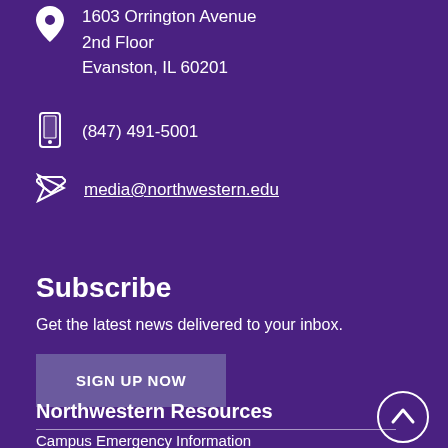1603 Orrington Avenue
2nd Floor
Evanston, IL 60201
(847) 491-5001
media@northwestern.edu
Subscribe
Get the latest news delivered to your inbox.
SIGN UP NOW
Northwestern Resources
Campus Emergency Information